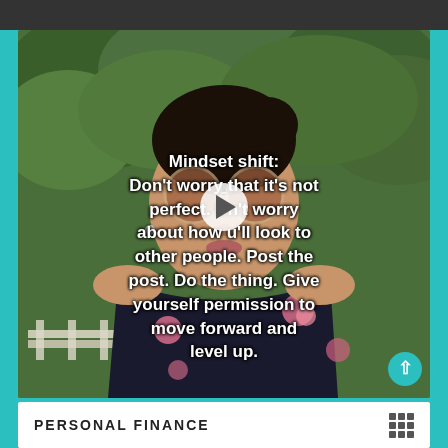[Figure (screenshot): A video screenshot of a woman wearing large round sunglasses and a floral black dress, standing outdoors with green trees behind her. A play button is overlaid in the center. Text overlay reads: 'Mindset shift: Don't worry that it's not perfect. Don't worry about how you'll look to other people. Post the post. Do the thing. Give yourself permission to move forward and level up.']
PERSONAL FINANCE